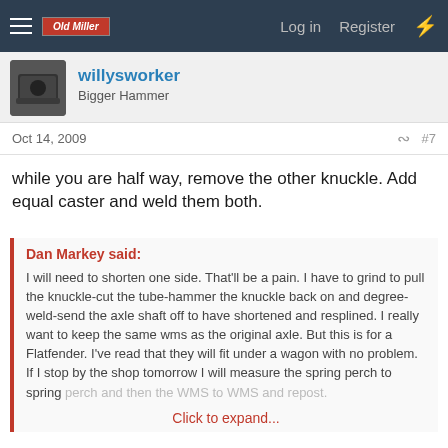Log in  Register
willysworker
Bigger Hammer
Oct 14, 2009  #7
while you are half way, remove the other knuckle. Add equal caster and weld them both.
Dan Markey said:
I will need to shorten one side. That'll be a pain. I have to grind to pull the knuckle-cut the tube-hammer the knuckle back on and degree-weld-send the axle shaft off to have shortened and resplined. I really want to keep the same wms as the original axle. But this is for a Flatfender. I've read that they will fit under a wagon with no problem. If I stop by the shop tomorrow I will measure the spring perch to spring perch and then the WMS to WMS and repost.
Click to expand...